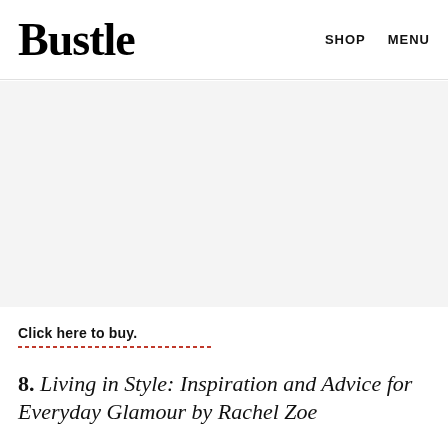Bustle   SHOP   MENU
[Figure (other): Gray placeholder advertisement block]
Click here to buy.
8. Living in Style: Inspiration and Advice for Everyday Glamour by Rachel Zoe